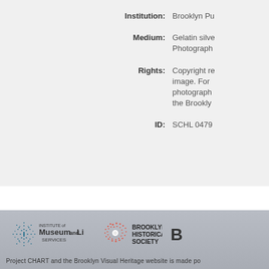Institution: Brooklyn Pu[blic Library]
Medium: Gelatin silve[r print]; Photograph[y]
Rights: Copyright re[served for this] image. For [use of this] photograph[, contact] the Brookly[n...]
ID: SCHL 0479[...]
[Figure (logo): Institute of Museum and Library Services logo]
[Figure (logo): Brooklyn Historical Society logo]
Project CHART and the Brooklyn Visual Heritage website is made po[ssible...]